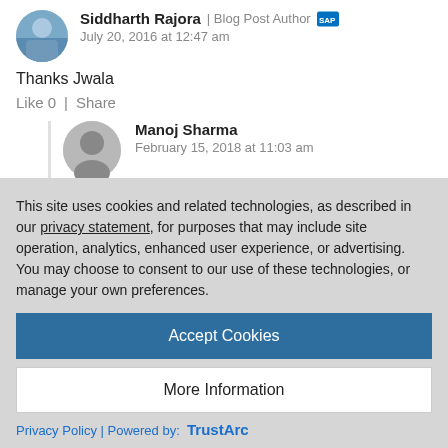Siddharth Rajora | Blog Post Author — July 20, 2016 at 12:47 am
Thanks Jwala
Like 0  |  Share
Manoj Sharma — February 15, 2018 at 11:03 am
Hi,
This site uses cookies and related technologies, as described in our privacy statement, for purposes that may include site operation, analytics, enhanced user experience, or advertising. You may choose to consent to our use of these technologies, or manage your own preferences.
Accept Cookies
More Information
Privacy Policy | Powered by: TrustArc